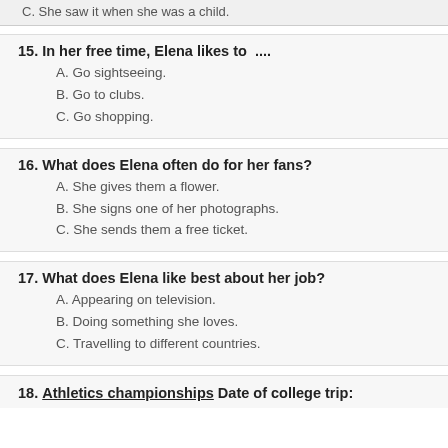C. She saw it when she was a child.
15. In her free time, Elena likes to ....
A. Go sightseeing.
B. Go to clubs.
C. Go shopping.
16. What does Elena often do for her fans?
A. She gives them a flower.
B. She signs one of her photographs.
C. She sends them a free ticket.
17. What does Elena like best about her job?
A. Appearing on television.
B. Doing something she loves.
C. Travelling to different countries.
18. Athletics championships Date of college trip: